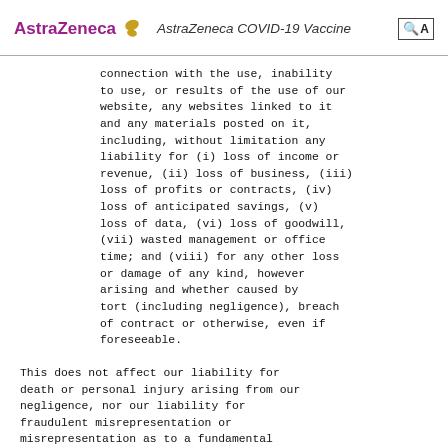AstraZeneca  AstraZeneca COVID-19 Vaccine
connection with the use, inability to use, or results of the use of our website, any websites linked to it and any materials posted on it, including, without limitation any liability for (i) loss of income or revenue, (ii) loss of business, (iii) loss of profits or contracts, (iv) loss of anticipated savings, (v) loss of data, (vi) loss of goodwill, (vii) wasted management or office time; and (viii) for any other loss or damage of any kind, however arising and whether caused by tort (including negligence), breach of contract or otherwise, even if foreseeable.
This does not affect our liability for death or personal injury arising from our negligence, nor our liability for fraudulent misrepresentation or misrepresentation as to a fundamental matter, nor any other liability which cannot be excluded or limited under applicable law.
We do not guarantee the accuracy...